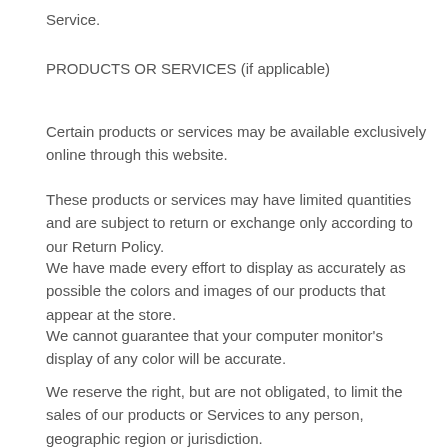Service.
PRODUCTS OR SERVICES (if applicable)
Certain products or services may be available exclusively online through this website.
These products or services may have limited quantities and are subject to return or exchange only according to our Return Policy.
We have made every effort to display as accurately as possible the colors and images of our products that appear at the store.
We cannot guarantee that your computer monitor’s display of any color will be accurate.
We reserve the right, but are not obligated, to limit the sales of our products or Services to any person, geographic region or jurisdiction.
We may exercise this right on a case-by-case basis.
We reserve the right to limit the quantities of any products or services that we offer.